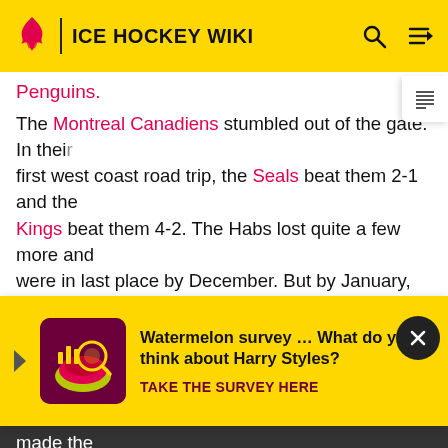ICE HOCKEY WIKI
Penguins.
The Montreal Canadiens stumbled out of the gate. In their first west coast road trip, the Seals beat them 2-1 and the Kings beat them 4-2. The Habs lost quite a few more and were in last place by December. But by January, Jean Beliveau began to score and others were inspired also. The H[obs]… and them… on lead. … d a 1.98 g…
[Figure (infographic): Watermelon survey ad popup with yellow background, purple image, text 'Watermelon survey … What do you think about Harry Styles?' and CTA 'TAKE THE SURVEY HERE']
the fewest goals allowed in the league, managed to keep first place thereafter. Worsley, for the first time, made the First All Star team.